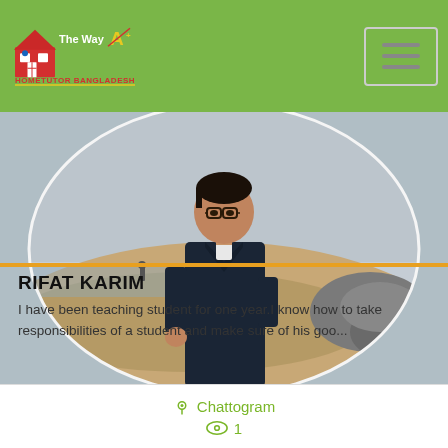[Figure (logo): HomeTutor Bangladesh logo with house icon and 'The Way A+' text on green background]
[Figure (photo): Young man wearing glasses standing on a sandy beach, circular cropped profile photo]
RIFAT KARIM
I have been teaching student for one year.I know how to take responsibilities of a student and make sure of his goo...
Chattogram
1